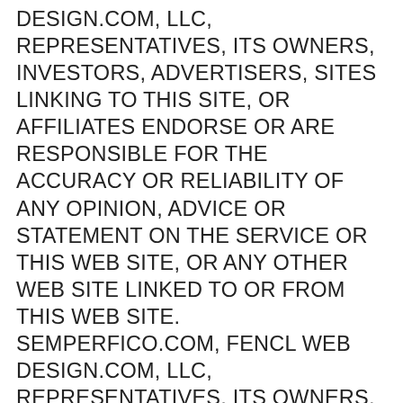DESIGN.COM, LLC, REPRESENTATIVES, ITS OWNERS, INVESTORS, ADVERTISERS, SITES LINKING TO THIS SITE, OR AFFILIATES ENDORSE OR ARE RESPONSIBLE FOR THE ACCURACY OR RELIABILITY OF ANY OPINION, ADVICE OR STATEMENT ON THE SERVICE OR THIS WEB SITE, OR ANY OTHER WEB SITE LINKED TO OR FROM THIS WEB SITE. SEMPERFICO.COM, FENCL WEB DESIGN.COM, LLC, REPRESENTATIVES, ITS OWNERS, INVESTORS, ADVERTISERS, SITES LINKING TO THIS SITE, OR AFFILIATES SHALL NOT BE LIABLE TO YOU OR ANYONE ELSE FOR ANY LOSS OR INJURY OR ANY DIRECT, INDIRECT, INCIDENTAL, CONSEQUENTIAL, SPECIAL, PUNITIVE OR SIMILAR DAMAGES ARISING OUT OF YOUR ACCESS OR USE OF, OR YOUR INABILITY TO ACCESS OR USE, THE SERVICE AND THE SITES AND THE INFORMATION AVAILABLE ON THE SERVICE AND THE SITES OR ARISING OUT OF ANY ACTION TAKEN IN RESPONSE TO OR AS A RESULT OF ANY INFORMATION AVAILABLE ON THE